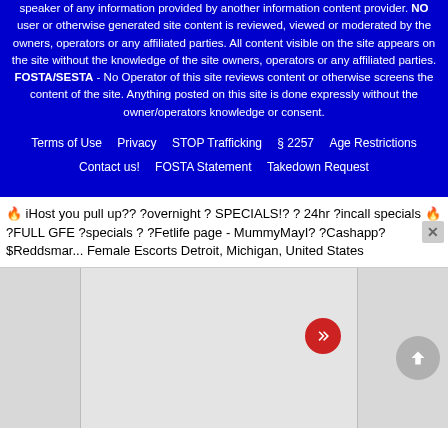speaker of any information provided by another information content provider. NO user or otherwise generated site content is reviewed, viewed or moderated by the owners, operators or any affiliated parties. All content visible on the site appears on the site without the knowledge of the site owners, operators or any affiliated parties. FOSTA/SESTA - No Operator of this site reviews content or otherwise screens the content of the site. Anything posted on this site is done expressly without the owner/operators knowledge or consent.
Terms of Use    Privacy    STOP Trafficking    § 2257    Age Restrictions    Contact us!    FOSTA Statement    Takedown Request
🔥 iHost you pull up?? ?overnight ? SPECIALS!? ? 24hr ?incall specials 🔥 ?FULL GFE ?specials ? ?Fetlife page - MummyMayI? ?Cashapp? $Reddsmar... Female Escorts Detroit, Michigan, United States
[Figure (map): A map section divided into three columns: a narrow left panel, a wide center map area in light gray, and a narrow right panel. The center panel contains a red circular button with a double chevron (>>) symbol and a gray circular scroll-to-top button with an upward arrow.]